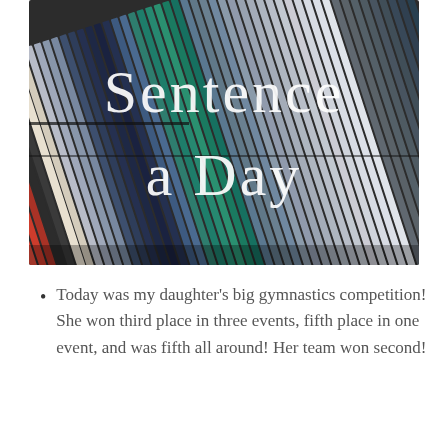[Figure (photo): Photo of colorful Prismacolor Premier colored pencils arranged side by side diagonally, with red on the left transitioning through blue, teal, and grey tones. The text 'Sentence a Day' is overlaid in white serif font.]
Today was my daughter's big gymnastics competition! She won third place in three events, fifth place in one event, and was fifth all around! Her team won second!